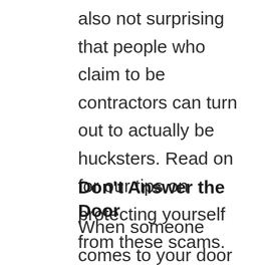also not surprising that people who claim to be contractors can turn out to actually be hucksters. Read on for our tips on protecting yourself from these scams.
Don't Answer the Door
When someone comes to your door and wants to peek around your shoulder into